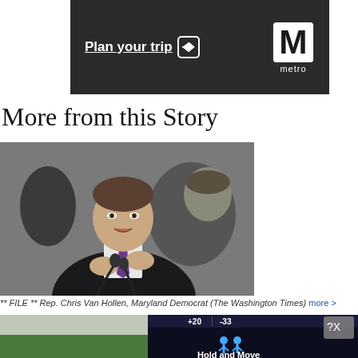[Figure (logo): Washington Metro 'Plan your trip' advertisement banner with dark background, white text 'Plan your trip →' and Metro M logo]
More from this Story
[Figure (photo): FILE photo of Rep. Chris Van Hollen, Maryland Democrat, speaking at a hearing with microphones, another man visible in background (The Washington Times)]
** FILE ** Rep. Chris Van Hollen, Maryland Democrat (The Washington Times) more >
[Figure (screenshot): Bottom partial screenshot showing 'Hold and Move' game/app interface with dark overlay and trees in background, plus a close dialog button]